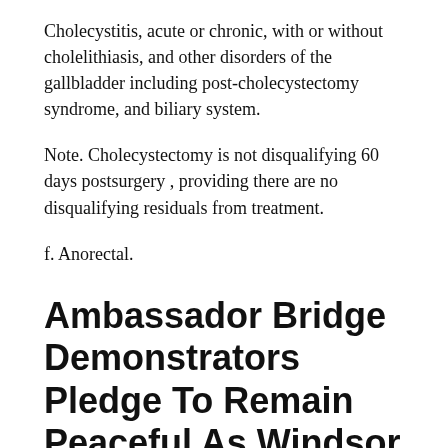Cholecystitis, acute or chronic, with or without cholelithiasis, and other disorders of the gallbladder including post-cholecystectomy syndrome, and biliary system.
Note. Cholecystectomy is not disqualifying 60 days postsurgery , providing there are no disqualifying residuals from treatment.
f. Anorectal.
Ambassador Bridge Demonstrators Pledge To Remain Peaceful As Windsor Police Threaten Arrest